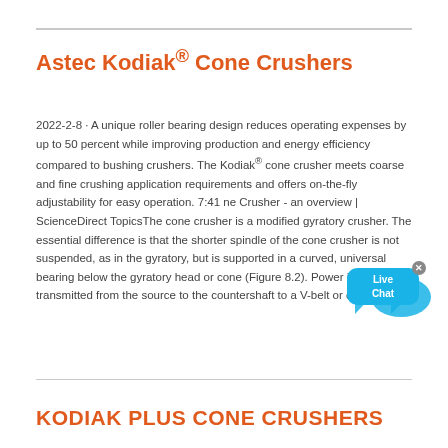Astec Kodiak® Cone Crushers
2022-2-8 · A unique roller bearing design reduces operating expenses by up to 50 percent while improving production and energy efficiency compared to bushing crushers. The Kodiak® cone crusher meets coarse and fine crushing application requirements and offers on-the-fly adjustability for easy operation. 7:41 ne Crusher - an overview | ScienceDirect TopicsThe cone crusher is a modified gyratory crusher. The essential difference is that the shorter spindle of the cone crusher is not suspended, as in the gyratory, but is supported in a curved, universal bearing below the gyratory head or cone (Figure 8.2). Power is transmitted from the source to the countershaft to a V-belt or direct drive.
[Figure (other): Live Chat button overlay — blue speech bubble with 'Live Chat' text and a fish/cursor graphic, with an X close button]
KODIAK PLUS CONE CRUSHERS